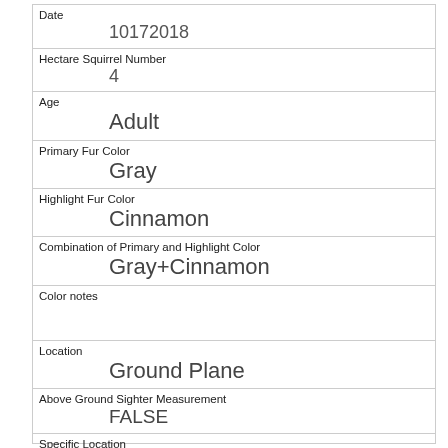| Date | 10172018 |
| Hectare Squirrel Number | 4 |
| Age | Adult |
| Primary Fur Color | Gray |
| Highlight Fur Color | Cinnamon |
| Combination of Primary and Highlight Color | Gray+Cinnamon |
| Color notes |  |
| Location | Ground Plane |
| Above Ground Sighter Measurement | FALSE |
| Specific Location |  |